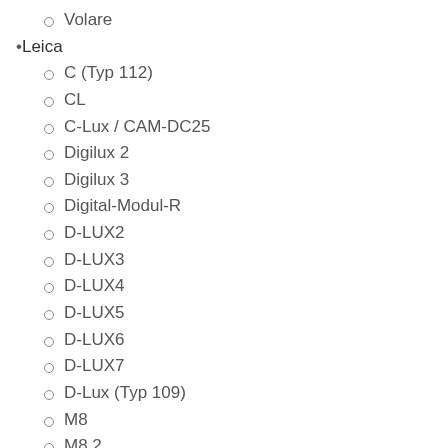Volare
Leica
C (Typ 112)
CL
C-Lux / CAM-DC25
Digilux 2
Digilux 3
Digital-Modul-R
D-LUX2
D-LUX3
D-LUX4
D-LUX5
D-LUX6
D-LUX7
D-Lux (Typ 109)
M8
M8.2
M9
M10